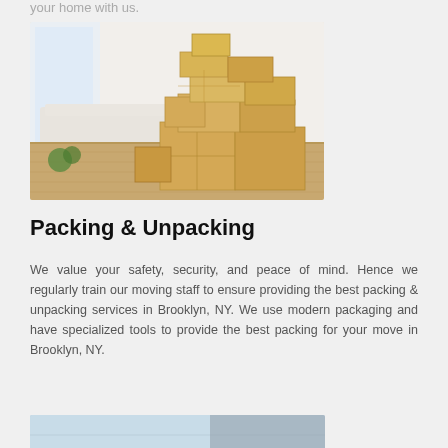your home with us.
[Figure (photo): Stack of cardboard moving boxes in a bright room with a white covered couch, wooden floor, and white brick wall]
Packing & Unpacking
We value your safety, security, and peace of mind. Hence we regularly train our moving staff to ensure providing the best packing & unpacking services in Brooklyn, NY. We use modern packaging and have specialized tools to provide the best packing for your move in Brooklyn, NY.
[Figure (photo): Partial view of another image at the bottom of the page]